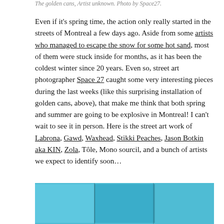The golden cans, Artist unknown. Photo by Space27.
Even if it's spring time, the action only really started in the streets of Montreal a few days ago. Aside from some artists who managed to escape the snow for some hot sand, most of them were stuck inside for months, as it has been the coldest winter since 20 years. Even so, street art photographer Space 27 caught some very interesting pieces during the last weeks (like this surprising installation of golden cans, above), that make me think that both spring and summer are going to be explosive in Montreal! I can't wait to see it in person. Here is the street art work of Labrona, Gawd, Waxhead, Stikki Peaches, Jason Botkin aka KIN, Zola, Tôle, Mono sourcil, and a bunch of artists we expect to identify soon...
[Figure (photo): Bottom portion of a photo showing blue painted surfaces, likely a street art installation, with vertical seam lines dividing the image into panels.]